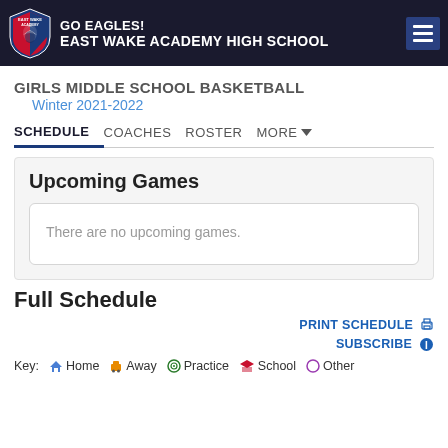GO EAGLES! EAST WAKE ACADEMY HIGH SCHOOL
GIRLS MIDDLE SCHOOL BASKETBALL
Winter 2021-2022
SCHEDULE   COACHES   ROSTER   MORE
Upcoming Games
There are no upcoming games.
Full Schedule
PRINT SCHEDULE
SUBSCRIBE
Key: Home  Away  Practice  School  Other